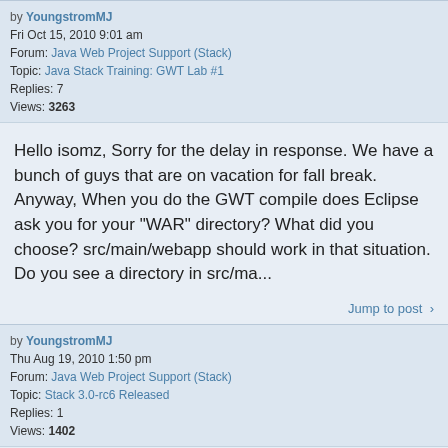by YoungstromMJ
Fri Oct 15, 2010 9:01 am
Forum: Java Web Project Support (Stack)
Topic: Java Stack Training: GWT Lab #1
Replies: 7
Views: 3263
Hello isomz, Sorry for the delay in response. We have a bunch of guys that are on vacation for fall break. Anyway, When you do the GWT compile does Eclipse ask you for your "WAR" directory? What did you choose? src/main/webapp should work in that situation. Do you see a directory in src/ma...
Jump to post >
by YoungstromMJ
Thu Aug 19, 2010 1:50 pm
Forum: Java Web Project Support (Stack)
Topic: Stack 3.0-rc6 Released
Replies: 1
Views: 1402
Full changelog for this release can be found on jira.
Jump to post >
by YoungstromMJ
Thu Aug 19, 2010 1:39 pm
Forum: Java Web Project Support (Stack)